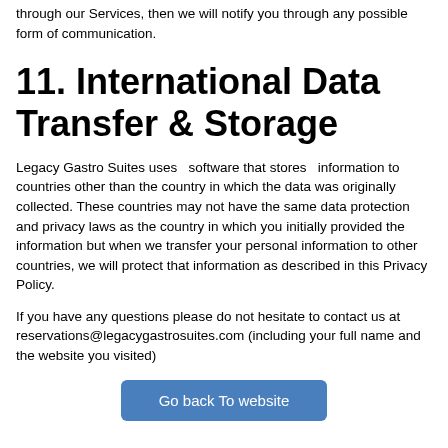through our Services, then we will notify you through any possible form of communication.
11. International Data Transfer & Storage
Legacy Gastro Suites uses  software that stores  information to countries other than the country in which the data was originally collected. These countries may not have the same data protection and privacy laws as the country in which you initially provided the information but when we transfer your personal information to other countries, we will protect that information as described in this Privacy Policy.
If you have any questions please do not hesitate to contact us at reservations@legacygastrosuites.com (including your full name and the website you visited)
Go back To website